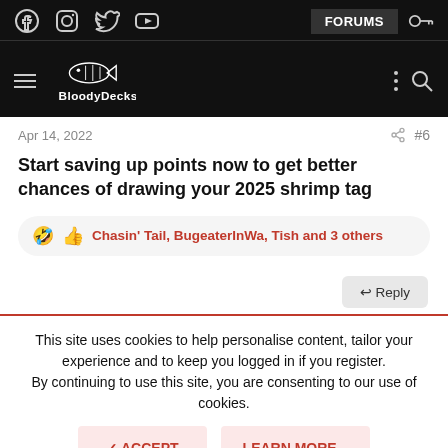[Figure (screenshot): BloodyDecks website navigation bar with social icons (Facebook, Instagram, Twitter, YouTube), FORUMS button, key icon, hamburger menu, fish logo, vertical dots, and search icon on black background]
Apr 14, 2022
#6
Start saving up points now to get better chances of drawing your 2025 shrimp tag
🤣 👍 Chasin' Tail, BugeaterInWa, Tish and 3 others
↩ Reply
This site uses cookies to help personalise content, tailor your experience and to keep you logged in if you register.
By continuing to use this site, you are consenting to our use of cookies.
✓ ACCEPT
LEARN MORE...